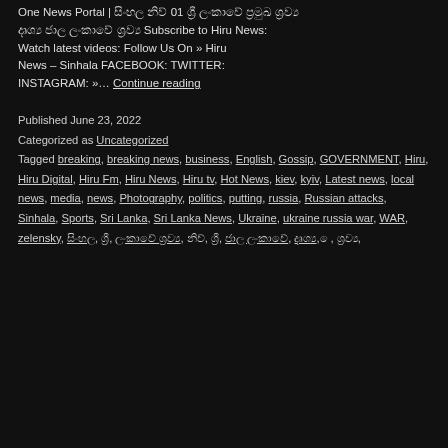One News Portal | සිංහල නිව් 01 ශ්‍රී ලංකාවේ ප්‍රමුඛ ශ්‍රව්‍ය දෘශ්‍ය ජාල Subscribe to Hiru News: Watch latest videos: Follow Us On » Hiru News – Sinhala FACEBOOK: TWITTER: INSTAGRAM: »… Continue reading
Published June 23, 2022
Categorized as Uncategorized
Tagged breaking, breaking news, business, English, Gossip, GOVERNMENT, Hiru, Hiru Digital, Hiru Fm, Hiru News, Hiru tv, Hot News, kiev, kyiv, Latest news, local news, media, news, Photography, politics, putting, russia, Russian attacks, Sinhala, Sports, Sri Lanka, Sri Lanka News, Ukraine, ukraine russia war, WAR, zelensky, සිංහල, ශ්‍රී, ලංකාවේ, ප්‍රමුඛ ශ්‍රව්‍ය, නිව්, ශ්‍රී, ජාල ලංකාවේ, දෘශ්‍ය, ෙ, ශ්‍රව්‍ය,